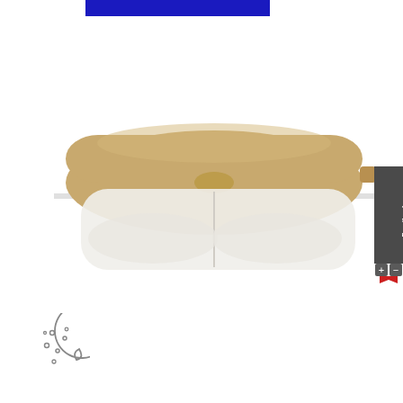[Figure (other): Blue rectangular banner/bar at the top center of the page]
[Figure (photo): Product photo of a tan/beige two-compartment food container or tray with a rounded lid, shown from a side/top angle. The top portion shows a tan plastic lid and the lower portion shows a clear plastic tray with two compartments.]
[Figure (other): Feedback tab on the right side: dark gray vertical tab with 'Give Us Your Feedback' text, plus and minus buttons, and a red bookmark ribbon below.]
[Figure (illustration): Cookie icon in the lower left: a circular outline of a cookie with bite taken out, small circles representing chocolate chips or dots inside.]